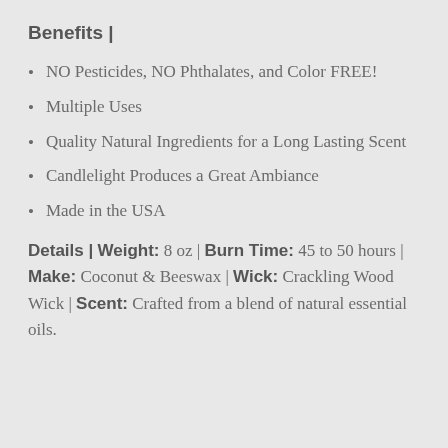Benefits |
NO Pesticides, NO Phthalates, and Color FREE!
Multiple Uses
Quality Natural Ingredients for a Long Lasting Scent
Candlelight Produces a Great Ambiance
Made in the USA
Details | Weight: 8 oz | Burn Time: 45 to 50 hours | Make: Coconut & Beeswax | Wick: Crackling Wood Wick | Scent: Crafted from a blend of natural essential oils.